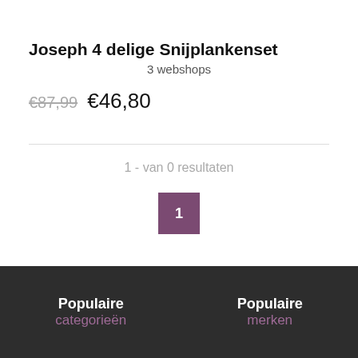Joseph 4 delige Snijplankenset
3 webshops
€87,99  €46,80
1 - van 0 resultaten
1
Populaire categorieën
Populaire merken